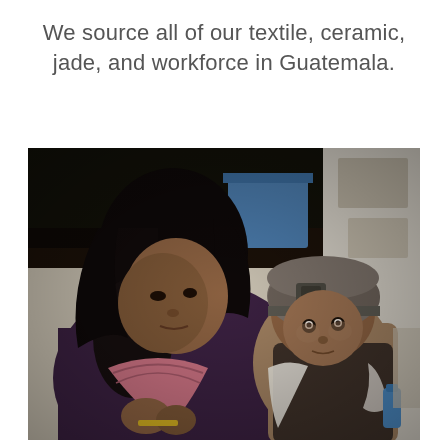We source all of our textile, ceramic, jade, and workforce in Guatemala.
[Figure (photo): Photo of a Guatemalan woman carrying a young child on her back. The woman has dark hair, is wearing a dark purple top and a patterned scarf/shawl. The child is wearing a gray knit hat. The background shows a whitewashed wall and a blue container.]